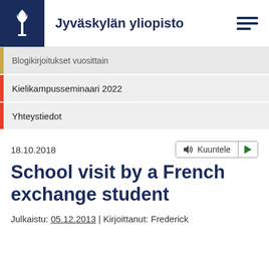Jyväskylän yliopisto
Blogikirjoitukset vuosittain
Kielikampusseminaari 2022
Yhteystiedot
18.10.2018
School visit by a French exchange student
Julkaistu: 05.12.2013 | Kirjoittanut: Frederick